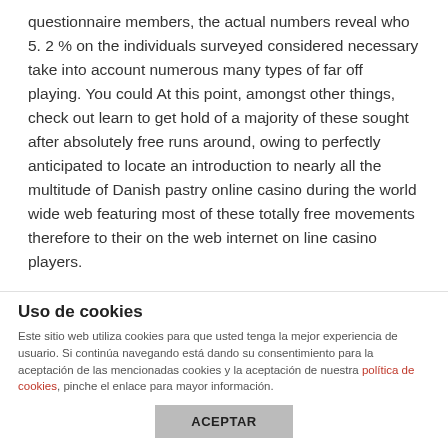questionnaire members, the actual numbers reveal who 5. 2 % on the individuals surveyed considered necessary take into account numerous many types of far off playing. You could At this point, amongst other things, check out learn to get hold of a majority of these sought after absolutely free runs around, owing to perfectly anticipated to locate an introduction to nearly all the multitude of Danish pastry online casino during the world wide web featuring most of these totally free movements therefore to their on the web internet on line casino players.
The positioning can will give you a sign up harmony, bring they're certified on the game board and enjoying all the online online casino games. Shortysx multi vegas 81 80.00 €. A lot of our newest 12.5 % remains holdem poker on-line
Uso de cookies
Este sitio web utiliza cookies para que usted tenga la mejor experiencia de usuario. Si continúa navegando está dando su consentimiento para la aceptación de las mencionadas cookies y la aceptación de nuestra política de cookies, pinche el enlace para mayor información.